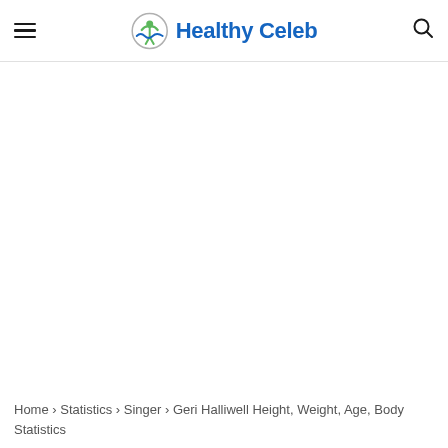Healthy Celeb
Home › Statistics › Singer › Geri Halliwell Height, Weight, Age, Body Statistics